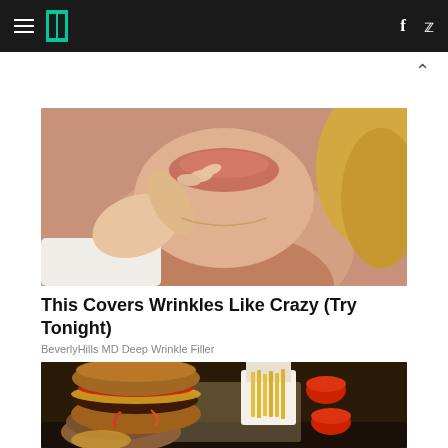HuffPost navigation bar with hamburger menu, logo, Facebook and Twitter icons
[Figure (photo): Close-up photo of a person touching their neck/chin area, wearing a white top, blonde hair visible — advertisement image for wrinkle filler product]
This Covers Wrinkles Like Crazy (Try Tonight)
BeverlyHills MD Deep Wrinkle Filler
[Figure (photo): Photo of a hand holding a large burger with toppings including tomato, melted cheese, and meat, alongside a tray with french fries in a paper cup and dipping sauces]